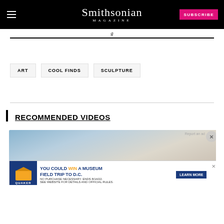Smithsonian MAGAZINE | SUBSCRIBE
g
ART
COOL FINDS
SCULPTURE
RECOMMENDED VIDEOS
[Figure (screenshot): Video thumbnail showing ice skating scene with text overlay 'Ice Skating on an Iceless Rink' and an advertisement banner from Quaker for Museum Day field trip to D.C.]